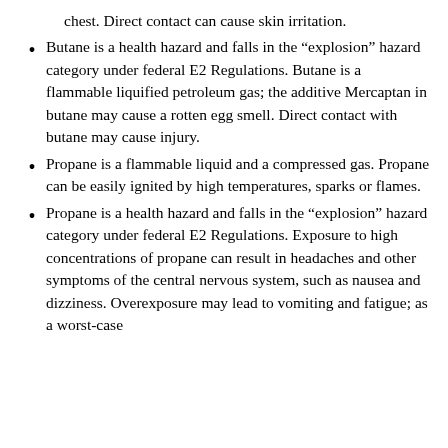chest. Direct contact can cause skin irritation.
Butane is a health hazard and falls in the “explosion” hazard category under federal E2 Regulations. Butane is a flammable liquified petroleum gas; the additive Mercaptan in butane may cause a rotten egg smell. Direct contact with butane may cause injury.
Propane is a flammable liquid and a compressed gas. Propane can be easily ignited by high temperatures, sparks or flames.
Propane is a health hazard and falls in the “explosion” hazard category under federal E2 Regulations. Exposure to high concentrations of propane can result in headaches and other symptoms of the central nervous system, such as nausea and dizziness. Overexposure may lead to vomiting and fatigue; as a worst-case